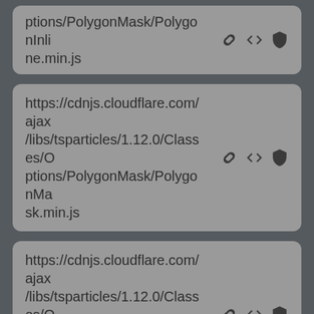ptions/PolygonMask/PolygonInline.min.js
https://cdnjs.cloudflare.com/ajax/libs/tsparticles/1.12.0/Classes/Options/PolygonMask/PolygonMask.min.js
https://cdnjs.cloudflare.com/ajax/libs/tsparticles/1.12.0/Classes/Options/PolygonMask/PolygonMaskDrawStroke.min.js
https://cdnjs.cloudflare.com/ajax/libs/tsparticles/1.12.0/Interfaces/Options/Background/IBackground.min.js